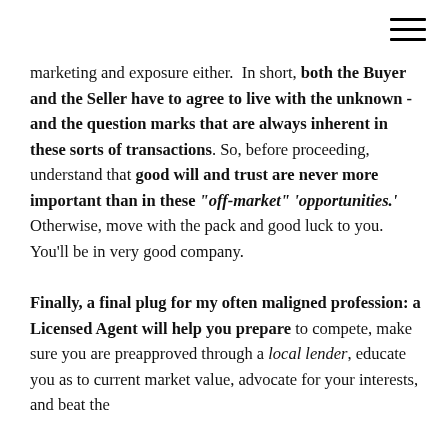marketing and exposure either.  In short, both the Buyer and the Seller have to agree to live with the unknown - and the question marks that are always inherent in these sorts of transactions. So, before proceeding, understand that good will and trust are never more important than in these "off-market" 'opportunities.' Otherwise, move with the pack and good luck to you.  You'll be in very good company.

Finally, a final plug for my often maligned profession: a Licensed Agent will help you prepare to compete, make sure you are preapproved through a local lender, educate you as to current market value, advocate for your interests, and beat the